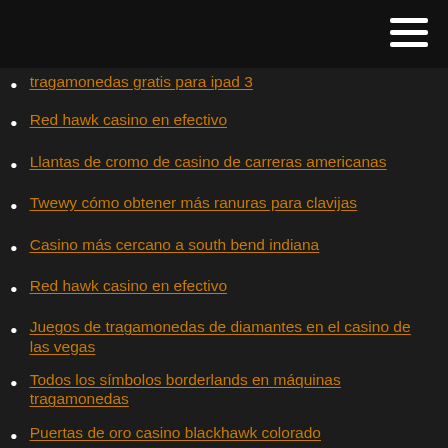tragamonedas gratis para ipad 3
Red hawk casino en efectivo
Llantas de cromo de casino de carreras americanas
Twewy cómo obtener más ranuras para clavijas
Casino más cercano a south bend indiana
Red hawk casino en efectivo
Juegos de tragamonedas de diamantes en el casino de las vegas
Todos los símbolos borderlands en máquinas tragamonedas
Puertas de oro casino blackhawk colorado
Horario comercial de western union monte casino
Tragamonedas igt gratis en línea
Pequeño casino riom es montañas